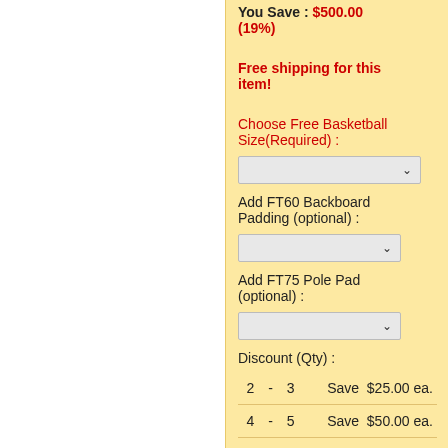$2,100.00 ea. You Save : $500.00 (19%)
Free shipping for this item!
Choose Free Basketball Size(Required) :
Add FT60 Backboard Padding (optional) :
Add FT75 Pole Pad (optional) :
Discount (Qty) :
|  | - |  | Save | Amount |
| --- | --- | --- | --- | --- |
| 2 | - | 3 | Save | $25.00 ea. |
| 4 | - | 5 | Save | $50.00 ea. |
| 6 | - | 8 | Save | $75.00 ea. |